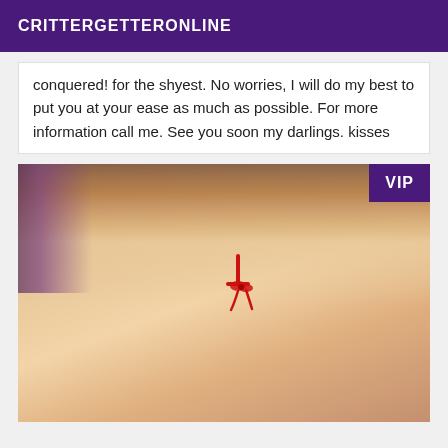CRITTERGETTERONLINE
conquered! for the shyest. No worries, I will do my best to put you at your ease as much as possible. For more information call me. See you soon my darlings. kisses
[Figure (photo): Person wearing red bikini, viewed from behind, with wooden furniture in background. VIP badge in upper right corner.]